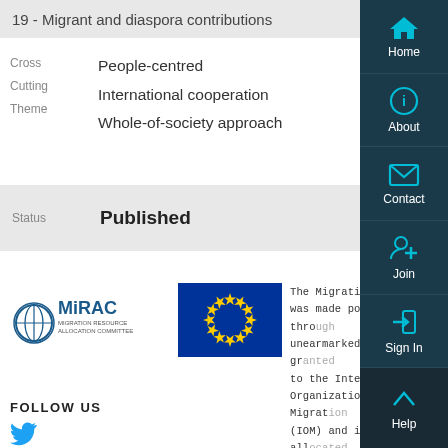19 - Migrant and diaspora contributions
Cross Cutting Theme
People-centred
International cooperation
Whole-of-society approach
Status  Published
[Figure (logo): MiRAC Migration Resources Allocation Committee logo]
[Figure (logo): European Union flag]
The Migration Network was made possible through unearmarked funding granted to the International Organization for Migration (IOM) and internally allocated through the Migration Resource Allocation Committee (MiRAC). The Network is also co-funded by the European Union.
FOLLOW US